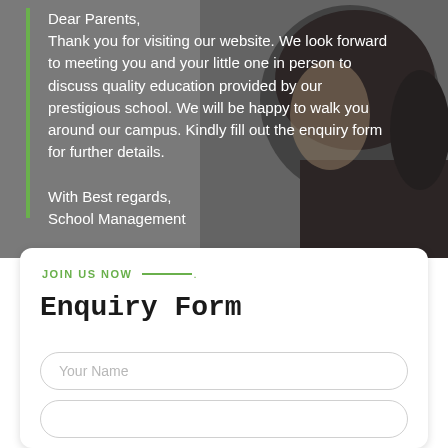[Figure (photo): Background photo of back of student's head with dark hair pulled back, overlaid on grey background]
Dear Parents,
Thank you for visiting our website. We look forward to meeting you and your little one in person to discuss quality education provided by our prestigious school. We will be happy to walk you around our campus. Kindly fill out the enquiry form for further details.

With Best regards,
School Management
JOIN US NOW
Enquiry Form
Your Name